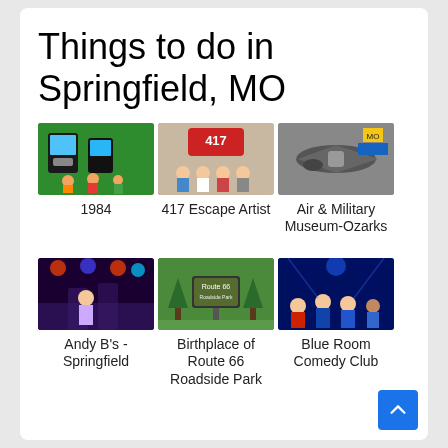Things to do in Springfield, MO
[Figure (photo): Photo of arcade/gaming venue labeled 1984]
1984
[Figure (photo): Photo of people at escape room labeled 417 Escape Artist]
417 Escape Artist
[Figure (photo): Photo of aircraft at Air & Military Museum-Ozarks]
Air & Military Museum-Ozarks
[Figure (photo): Photo of entertainment venue Andy B's - Springfield]
Andy B's - Springfield
[Figure (photo): Photo of roadside park sign for Birthplace of Route 66 Roadside Park]
Birthplace of Route 66 Roadside Park
[Figure (photo): Photo of people at Blue Room Comedy Club]
Blue Room Comedy Club